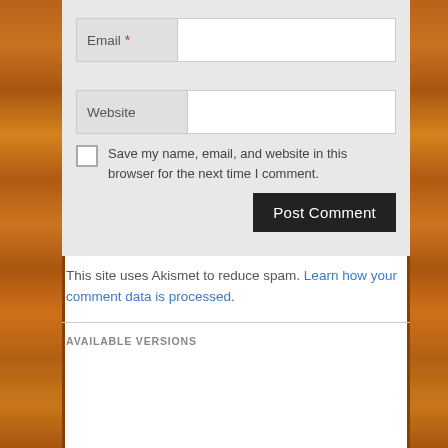[Figure (screenshot): Email input field with red asterisk required marker, label 'Email' on left grey tab, white input area on right]
[Figure (screenshot): Website input field with label 'Website' on left grey tab, white input area on right]
Save my name, email, and website in this browser for the next time I comment.
[Figure (screenshot): Post Comment button, dark/black background with white text]
This site uses Akismet to reduce spam. Learn how your comment data is processed.
AVAILABLE VERSIONS